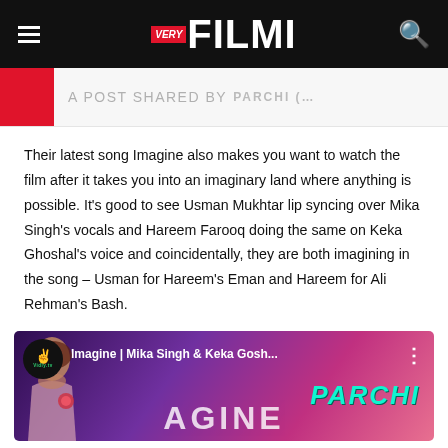VERY FILMI
A POST SHARED BY PARCHI (…
Their latest song Imagine also makes you want to watch the film after it takes you into an imaginary land where anything is possible. It's good to see Usman Mukhtar lip syncing over Mika Singh's vocals and Hareem Farooq doing the same on Keka Ghoshal's voice and coincidentally, they are both imagining in the song – Usman for Hareem's Eman and Hareem for Ali Rehman's Bash.
[Figure (screenshot): Video thumbnail showing 'Imagine | Mika Singh & Keka Gosh...' with Vidly.tv logo and PARCHI branding on a purple/pink gradient background with a woman holding a rose]